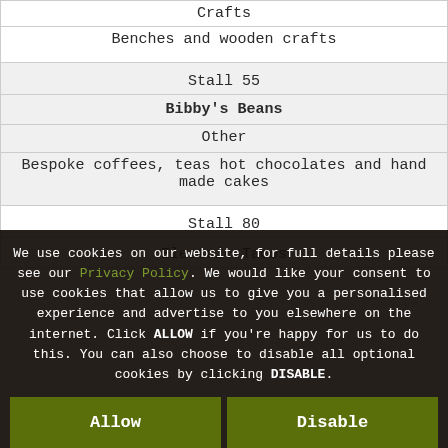| Crafts | Benches and wooden crafts |
| Stall 55 | Bibby's Beans | Other | Bespoke coffees, teas hot chocolates and hand made cakes |
| Stall 80 | Electric Tacos |
We use cookies on our website, for full details please see our Privacy Policy. We would like your consent to use cookies that allow us to give you a personalised experience and advertise to you elsewhere on the internet. Click ALLOW if you're happy for us to do this. You can also choose to disable all optional cookies by clicking DISABLE.